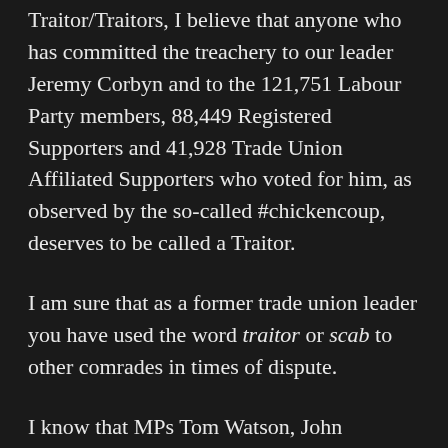Traitor/Traitors, I believe that anyone who has committed the treachery to our leader Jeremy Corbyn and to the 121,751 Labour Party members, 88,449 Registered Supporters and 41,928 Trade Union Affiliated Supporters who voted for him, as observed by the so-called #chickencoup, deserves to be called a Traitor.
I am sure that as a former trade union leader you have used the word traitor or scab to other comrades in times of dispute.
I know that MPs Tom Watson, John McTernan, Luke Akehurst and others have used the word Traitor, and much worse about fellow Labour Party members.